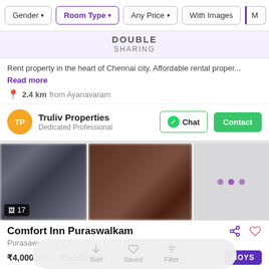[Figure (screenshot): Filter bar with Gender, Room Type (active/selected), Any Price, With Images, and More filter buttons]
DOUBLE
SHARING
Rent property in the heart of Chennai city. Affordable rental proper... Read more
2.4 km from Ayanavaram
Truliv Properties
Dedicated Professional
[Figure (screenshot): Two property images side by side and a gray panel with loading dots, with image count badge showing 17]
Comfort Inn Puraswalkam
Purasawalkam, Chennai
₹4,000/bed — ₹5,500/room
[Figure (screenshot): Bottom navigation with Sort, Saved, Filter controls]